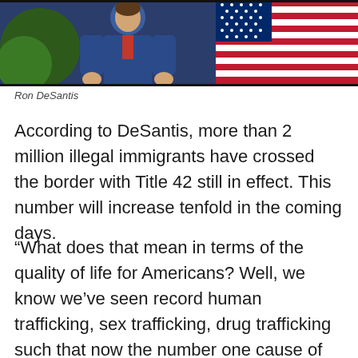[Figure (photo): Photo of Ron DeSantis standing in front of an American flag and a Florida state flag, wearing a blue suit]
Ron DeSantis
According to DeSantis, more than 2 million illegal immigrants have crossed the border with Title 42 still in effect. This number will increase tenfold in the coming days.
“What does that mean in terms of the quality of life for Americans? Well, we know we’ve seen record human trafficking, sex trafficking, drug trafficking such that now the number one cause of death for people 18 to 45 in the United States of America is fentanyl overdose.”